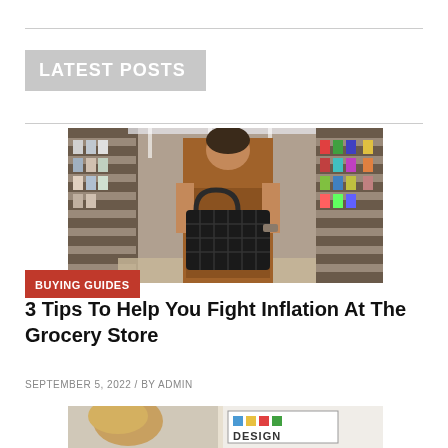LATEST POSTS
[Figure (photo): Woman in brown dress holding a black shopping basket walking through a grocery store aisle with products on shelves on both sides]
BUYING GUIDES
3 Tips To Help You Fight Inflation At The Grocery Store
SEPTEMBER 5, 2022 / BY ADMIN
[Figure (photo): Partially visible bottom image showing a person and a sign with the word DESIGN]